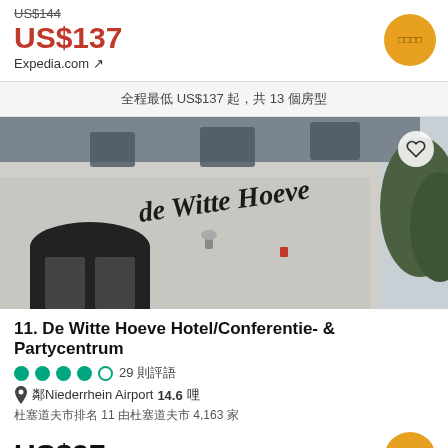US$144 (strikethrough)
US$137
Expedia.com ↗
全程最低 US$137 起，共 13 個房型
[Figure (photo): Exterior photo of De Witte Hoeve Hotel showing the building facade with the hotel name sign, arched entrance, and trees in background. Heart/favorite icon in top right corner.]
11. De Witte Hoeve Hotel/Conferentie- & Partycentrum
●●●●○ 29 則評語
📍 鄰Niederrhein Airport14.6哩
杜塞道夫市排名 11 由杜塞道夫市 4,163 家
US$97